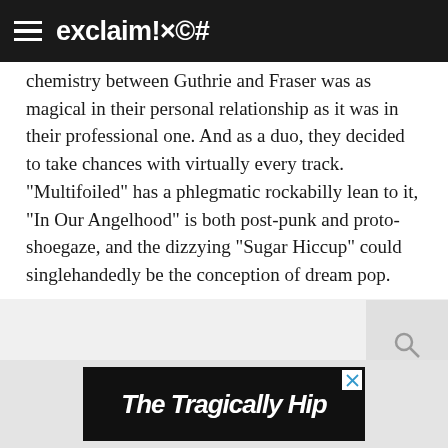exclaim!×©#
chemistry between Guthrie and Fraser was as magical in their personal relationship as it was in their professional one. And as a duo, they decided to take chances with virtually every track. "Multifoiled" has a phlegmatic rockabilly lean to it, "In Our Angelhood" is both post-punk and proto-shoegaze, and the dizzying "Sugar Hiccup" could singlehandedly be the conception of dream pop.
[Figure (other): The Tragically Hip advertisement banner in black and white handwritten style text]